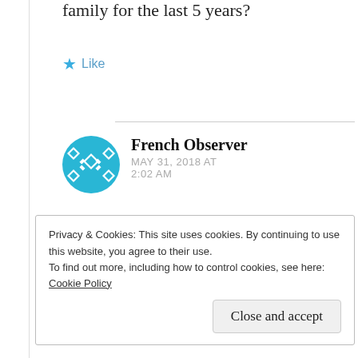family for the last 5 years?
Like
French Observer
MAY 31, 2018 AT 2:02 AM
The Tertön Sogyal Foundations
Privacy & Cookies: This site uses cookies. By continuing to use this website, you agree to their use.
To find out more, including how to control cookies, see here: Cookie Policy
Close and accept